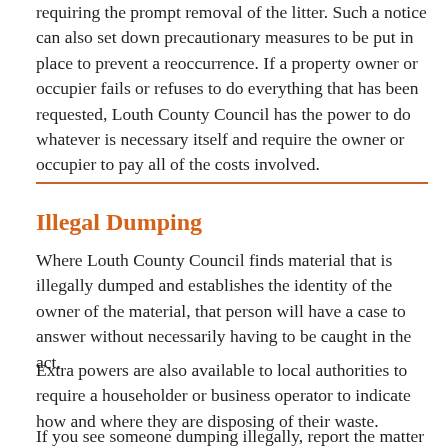requiring the prompt removal of the litter. Such a notice can also set down precautionary measures to be put in place to prevent a reoccurrence. If a property owner or occupier fails or refuses to do everything that has been requested, Louth County Council has the power to do whatever is necessary itself and require the owner or occupier to pay all of the costs involved.
Illegal Dumping
Where Louth County Council finds material that is illegally dumped and establishes the identity of the owner of the material, that person will have a case to answer without necessarily having to be caught in the act.
Extra powers are also available to local authorities to require a householder or business operator to indicate how and where they are disposing of their waste.
If you see someone dumping illegally, report the matter to